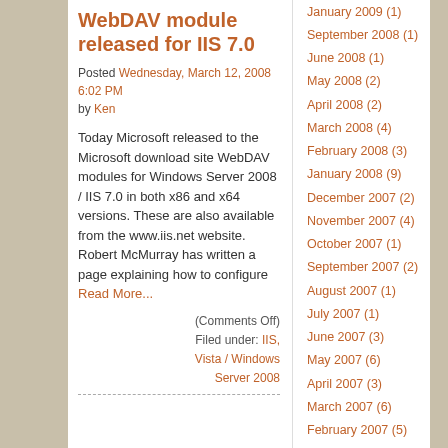WebDAV module released for IIS 7.0
Posted Wednesday, March 12, 2008 6:02 PM by Ken
Today Microsoft released to the Microsoft download site WebDAV modules for Windows Server 2008 / IIS 7.0 in both x86 and x64 versions. These are also available from the www.iis.net website. Robert McMurray has written a page explaining how to configure Read More...
(Comments Off)
Filed under: IIS, Vista / Windows Server 2008
January 2009 (1)
September 2008 (1)
June 2008 (1)
May 2008 (2)
April 2008 (2)
March 2008 (4)
February 2008 (3)
January 2008 (9)
December 2007 (2)
November 2007 (4)
October 2007 (1)
September 2007 (2)
August 2007 (1)
July 2007 (1)
June 2007 (3)
May 2007 (6)
April 2007 (3)
March 2007 (6)
February 2007 (5)
January 2007 (9)
December 2006 (3)
November 2006 (1)
October 2006 (11)